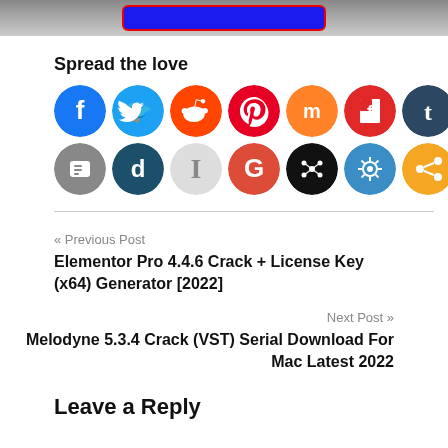[Figure (other): Blue button with red border at top of page]
Spread the love
[Figure (infographic): Row 1 social media icons: Facebook (blue), Twitter (light blue), Reddit (orange), Pinterest (red), Mix (orange), Flipboard (red), Tumblr (dark blue-grey), Yummly (red-orange), icon (teal). Row 2: Blogger (grey), Digg (teal-dark), Instapaper (light grey), Google (red-orange), social network (black), virus/share (blue), share (orange).]
« Previous Post
Elementor Pro 4.4.6 Crack + License Key (x64) Generator [2022]
Next Post »
Melodyne 5.3.4 Crack (VST) Serial Download For Mac Latest 2022
Leave a Reply